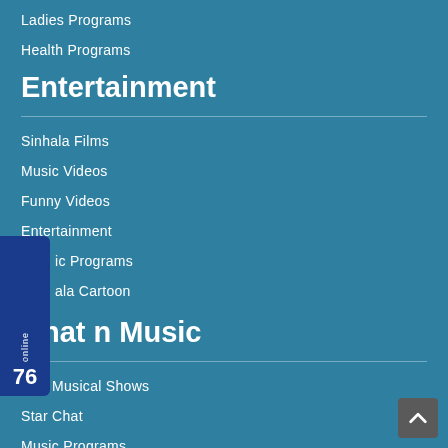Ladies Programs
Health Programs
Entertainment
Sinhala Films
Music Videos
Funny Videos
Entertainment
ic Programs
ala Cartoon
Chat n Music
Live Musical Shows
Star Chat
Music Programs